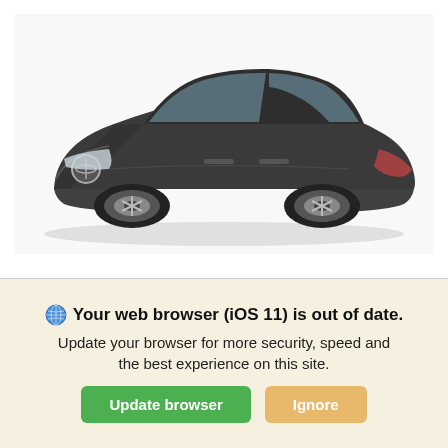[Figure (photo): Dark gray Nissan Altima sedan viewed from front-left angle, displayed on a white background]
New 2022 Nissan Altima FWD
2.5 S Sedan
| In-Transit | ETA of 2022-09-18* |
| --- | --- |
MSRP $26,565
Your web browser (iOS 11) is out of date. Update your browser for more security, speed and the best experience on this site.
Update browser
Ignore